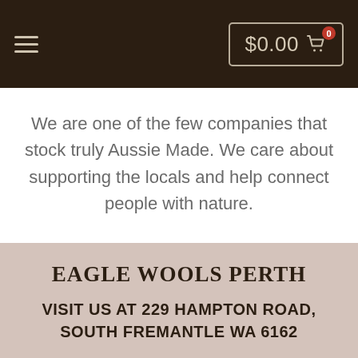$0.00 0
We are one of the few companies that stock truly Aussie Made. We care about supporting the locals and help connect people with nature.
EAGLE WOOLS PERTH
VISIT US AT 229 HAMPTON ROAD, SOUTH FREMANTLE WA 6162
COME IN STORE